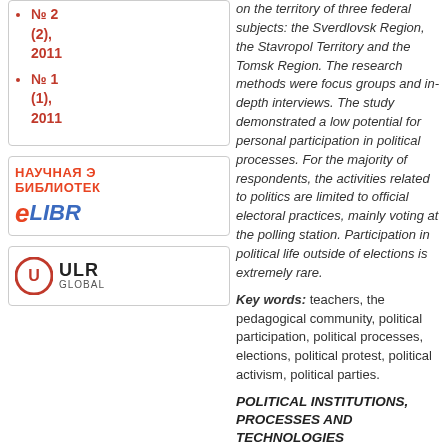№ 2 (2), 2011
№ 1 (1), 2011
[Figure (logo): НАУЧНАЯ ЭЛЕКТРОННАЯ БИБЛИОТЕКА eLIBRARY logo with orange/red text and blue brand text]
[Figure (logo): ULR GLOBAL logo with red circular U icon and bold ULR GLOBAL text]
on the territory of three federal subjects: the Sverdlovsk Region, the Stavropol Territory and the Tomsk Region. The research methods were focus groups and in-depth interviews. The study demonstrated a low potential for personal participation in political processes. For the majority of respondents, the activities related to politics are limited to official electoral practices, mainly voting at the polling station. Participation in political life outside of elections is extremely rare.
Key words: teachers, the pedagogical community, political participation, political processes, elections, political protest, political activism, political parties.
POLITICAL INSTITUTIONS, PROCESSES AND TECHNOLOGIES
DOI 10.35775/PSI.2021.67.3.004
M.A. ASTVATSATUROVA Doctor of Political Science, Professor, Heilongjiang Institute of Foreign Languages, Harbin, China
MANG YIMIN